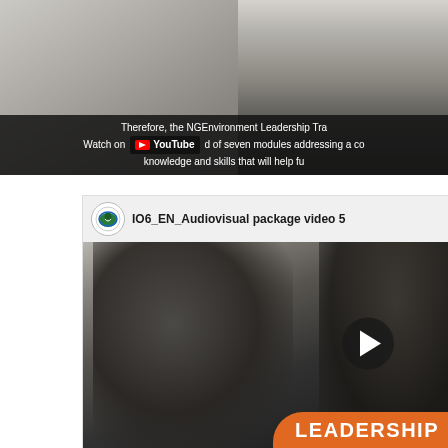[Figure (screenshot): Top portion of a YouTube video embed showing a person seated, with a dark overlay bar containing partially visible text about NGEnvironment Leadership Training and a 'Watch on YouTube' button.]
Therefore, the NGEnvironment Leadership Tra... of seven modules addressing a co... knowledge and skills that will help fu...
[Figure (screenshot): YouTube video embed thumbnail showing two people in profile view, a play button, channel logo for NGEnvironment, video title 'IO6_EN_Audiovisual package video 5', and a partially visible orange 'LEADERSHIP' banner at bottom right.]